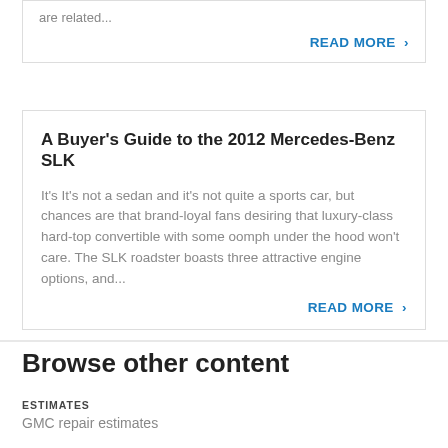are related...
READ MORE >
A Buyer's Guide to the 2012 Mercedes-Benz SLK
It's It's not a sedan and it's not quite a sports car, but chances are that brand-loyal fans desiring that luxury-class hard-top convertible with some oomph under the hood won't care. The SLK roadster boasts three attractive engine options, and...
READ MORE >
Browse other content
ESTIMATES
GMC repair estimates